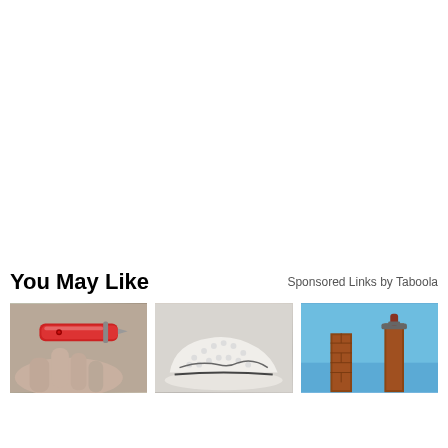You May Like
Sponsored Links by Taboola
[Figure (photo): Three thumbnail images in a row: a red pen/tool held in a hand, a white textured shoe, and a chimney against a blue sky]